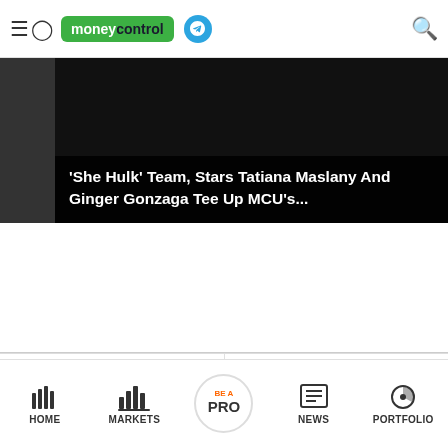moneycontrol
[Figure (screenshot): Hero image of She Hulk article with dark overlay and headline text]
'She Hulk' Team, Stars Tatiana Maslany And Ginger Gonzaga Tee Up MCU's...
What Narasimhan's appointment as global CEO means for Intu...
Ahead of IPO, Tamilnad Mercantile Bank to list...
HOME  MARKETS  BE A PRO  NEWS  PORTFOLIO